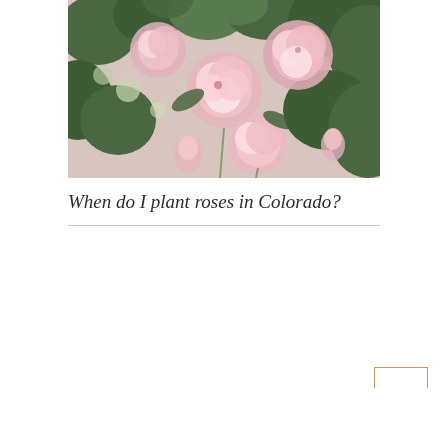[Figure (photo): Close-up photo of pink roses and green leaves on a bush, soft natural lighting]
When do I plant roses in Colorado?